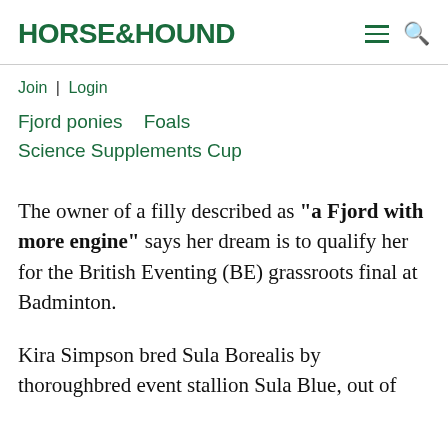HORSE&HOUND
Join | Login
Fjord ponies   Foals
Science Supplements Cup
The owner of a filly described as "a Fjord with more engine" says her dream is to qualify her for the British Eventing (BE) grassroots final at Badminton.
Kira Simpson bred Sula Borealis by thoroughbred event stallion Sula Blue, out of